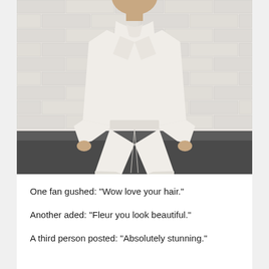[Figure (photo): A person wearing an all-white/cream outfit consisting of wide-leg trousers and a tied blouse/jacket, standing against a white brick wall with a dark floor visible at the bottom.]
One fan gushed: "Wow love your hair."
Another aded: "Fleur you look beautiful."
A third person posted: "Absolutely stunning."